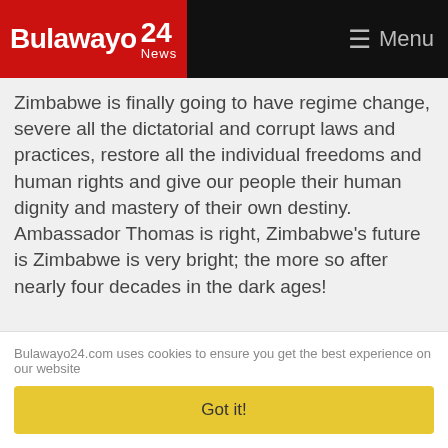Bulawayo 24 News | Menu
Zimbabwe is finally going to have regime change, severe all the dictatorial and corrupt laws and practices, restore all the individual freedoms and human rights and give our people their human dignity and mastery of their own destiny. Ambassador Thomas is right, Zimbabwe's future is Zimbabwe is very bright; the more so after nearly four decades in the dark ages!
Bulawayo24.com uses cookies to ensure you get the best experience on our website
Got it!